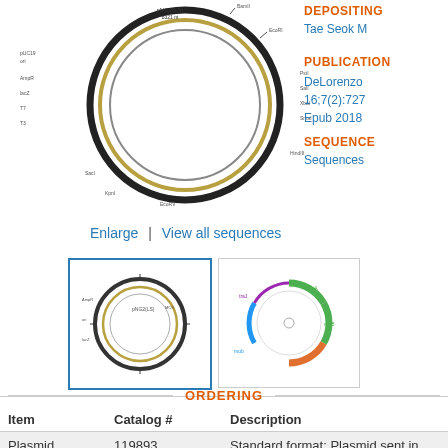[Figure (illustration): Plasmid circular map diagram showing pNG2 plasmid with labeled features]
Enlarge   |   View all sequences
[Figure (illustration): Thumbnail 1: detailed plasmid map (selected, blue border)]
[Figure (illustration): Thumbnail 2: simplified colored plasmid map]
DEPOSITING
Tae Seok M
PUBLICATION
DeLorenzo
16;7(2):727
Epub 2018
SEQUENCE
Sequences
ORDERING
| Item | Catalog # | Description |
| --- | --- | --- |
| Plasmid | 119893 | Standard format: Plasmid sent in bacteria as agar stab |
This material
BACKBONE
Vector backbone:  pNG2
Supplement
(Search Vector Database)
pDDY